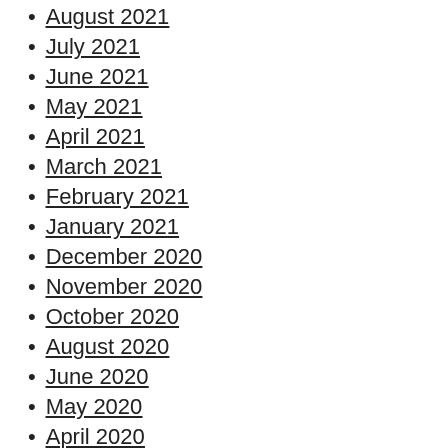August 2021
July 2021
June 2021
May 2021
April 2021
March 2021
February 2021
January 2021
December 2020
November 2020
October 2020
August 2020
June 2020
May 2020
April 2020
March 2020
February 2020
January 2020